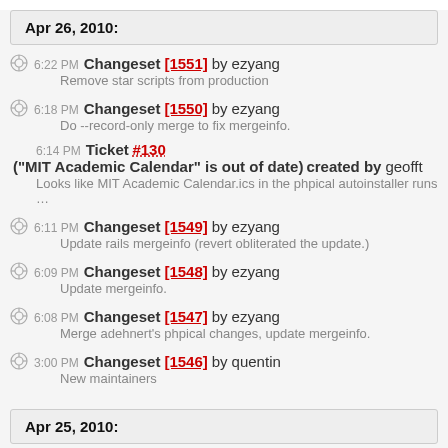Apr 26, 2010:
6:22 PM Changeset [1551] by ezyang
Remove star scripts from production
6:18 PM Changeset [1550] by ezyang
Do --record-only merge to fix mergeinfo.
6:14 PM Ticket #130 ("MIT Academic Calendar" is out of date) created by geofft
Looks like MIT Academic Calendar.ics in the phpical autoinstaller runs …
6:11 PM Changeset [1549] by ezyang
Update rails mergeinfo (revert obliterated the update.)
6:09 PM Changeset [1548] by ezyang
Update mergeinfo.
6:08 PM Changeset [1547] by ezyang
Merge adehnert's phpical changes, update mergeinfo.
3:00 PM Changeset [1546] by quentin
New maintainers
Apr 25, 2010: